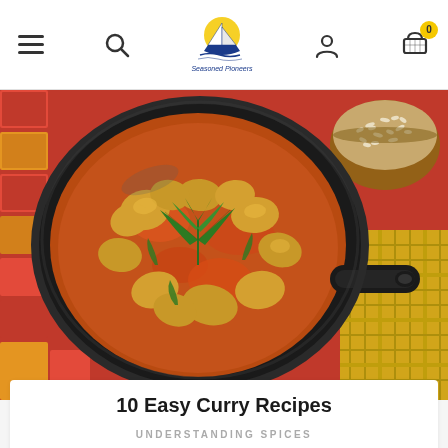Navigation bar with hamburger menu, search, Seasoned Pioneers logo, user icon, and cart (0)
[Figure (photo): A cast iron skillet filled with chicken curry in a rich tomato-orange sauce, garnished with fresh green cilantro leaves. A bowl of white rice is visible in the upper right corner. The skillet rests on a colorful mosaic tile surface with a yellow plaid cloth nearby.]
10 Easy Curry Recipes
UNDERSTANDING SPICES